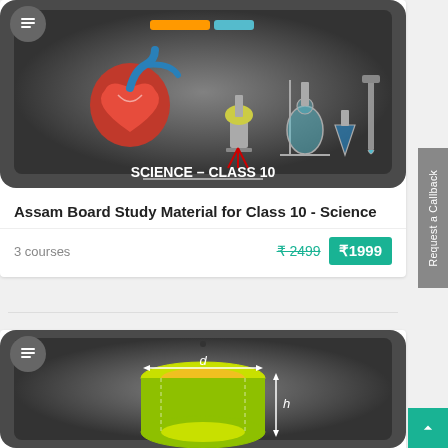[Figure (screenshot): Science Class 10 course card with dark tablet display showing heart anatomy, chemistry lab equipment, and text SCIENCE - CLASS 10]
Assam Board Study Material for Class 10 - Science
3 courses   ₹2499   ₹1999
[Figure (screenshot): Mathematics course card with dark tablet display showing a cylinder diagram with labels d and h]
Request a Callback